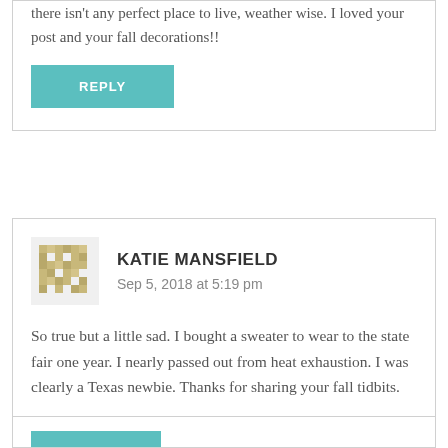there isn't any perfect place to live, weather wise. I loved your post and your fall decorations!!
REPLY
KATIE MANSFIELD
Sep 5, 2018 at 5:19 pm
So true but a little sad. I bought a sweater to wear to the state fair one year. I nearly passed out from heat exhaustion. I was clearly a Texas newbie. Thanks for sharing your fall tidbits.
[Figure (other): Partial teal reply button visible at bottom of page]